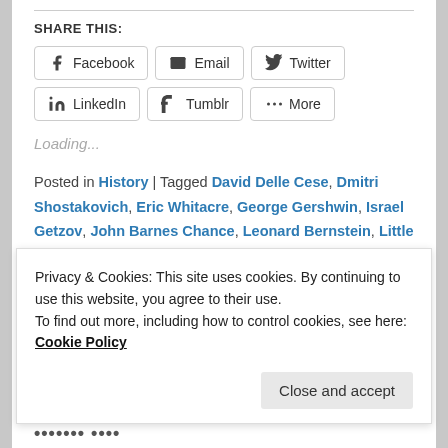SHARE THIS:
Facebook | Email | Twitter | LinkedIn | Tumblr | More
Loading...
Posted in History | Tagged David Delle Cese, Dmitri Shostakovich, Eric Whitacre, George Gershwin, Israel Getzov, John Barnes Chance, Leonard Bernstein, Little Rock Winds, Luis Serrano Alarcon, Stephen Feldman
Privacy & Cookies: This site uses cookies. By continuing to use this website, you agree to their use.
To find out more, including how to control cookies, see here: Cookie Policy